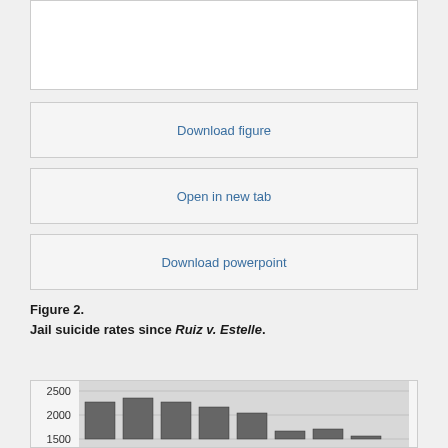[Figure (other): Top portion of a figure, partially visible white panel]
Download figure
Open in new tab
Download powerpoint
Figure 2.
Jail suicide rates since Ruiz v. Estelle.
[Figure (bar-chart): Partially visible bar chart showing jail suicide rates since Ruiz v. Estelle, y-axis showing values from 1500 to 2500]